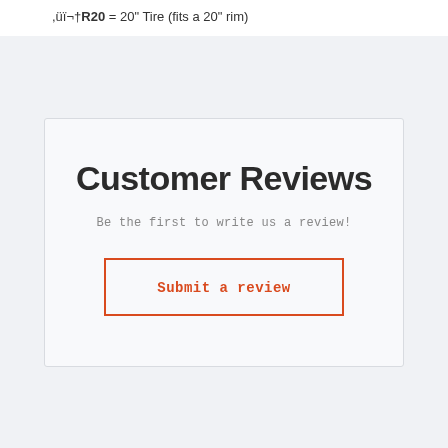,üï¬†R20 = 20" Tire (fits a 20" rim)
Customer Reviews
Be the first to write us a review!
Submit a review